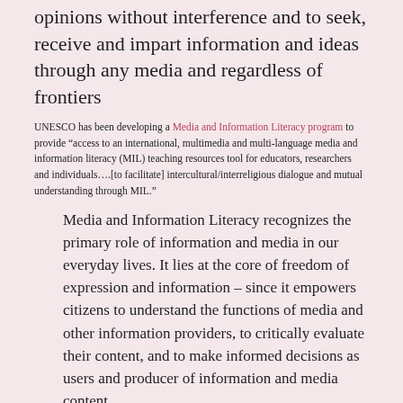opinions without interference and to seek, receive and impart information and ideas through any media and regardless of frontiers
UNESCO has been developing a Media and Information Literacy program to provide “access to an international, multimedia and multi-language media and information literacy (MIL) teaching resources tool for educators, researchers and individuals….[to facilitate] intercultural/interreligious dialogue and mutual understanding through MIL.”
Media and Information Literacy recognizes the primary role of information and media in our everyday lives. It lies at the core of freedom of expression and information – since it empowers citizens to understand the functions of media and other information providers, to critically evaluate their content, and to make informed decisions as users and producer of information and media content.